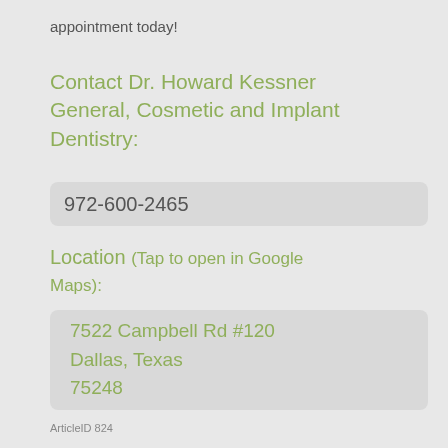appointment today!
Contact Dr. Howard Kessner General, Cosmetic and Implant Dentistry:
972-600-2465
Location (Tap to open in Google Maps):
7522 Campbell Rd #120
Dallas, Texas
75248
ArticleID 824